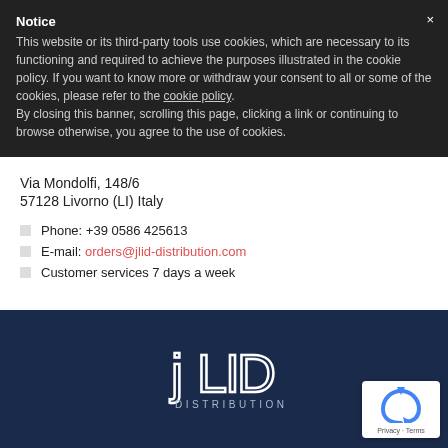Notice
This website or its third-party tools use cookies, which are necessary to its functioning and required to achieve the purposes illustrated in the cookie policy. If you want to know more or withdraw your consent to all or some of the cookies, please refer to the cookie policy.
By closing this banner, scrolling this page, clicking a link or continuing to browse otherwise, you agree to the use of cookies.
Via Mondolfi, 148/6
57128 Livorno (LI) Italy
Phone: +39 0586 425613
E-mail: orders@jlid-distribution.com
Customer services 7 days a week
[Figure (logo): JLID Distribution logo in white on dark navy background]